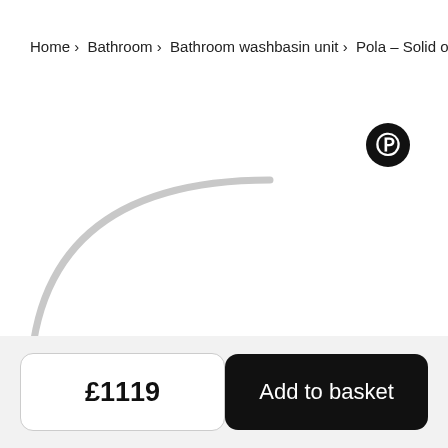Home › Bathroom › Bathroom washbasin unit › Pola – Solid o...
[Figure (screenshot): Partial view of a bathroom washbasin unit product image showing a curved white/light grey shape on white background, with a Pinterest share button icon in the top right area]
£1119
Add to basket